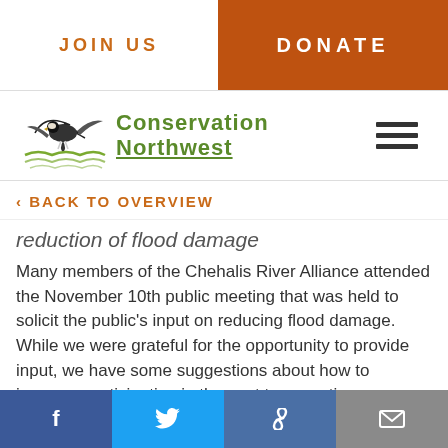JOIN US | DONATE
[Figure (logo): Conservation Northwest logo with eagle and wave marks]
‹ BACK TO OVERVIEW
reduction of flood damage
Many members of the Chehalis River Alliance attended the November 10th public meeting that was held to solicit the public's input on reducing flood damage. While we were grateful for the opportunity to provide input, we have some suggestions about how to increase participation in the next two meetings
Facebook | Twitter | Link | Email